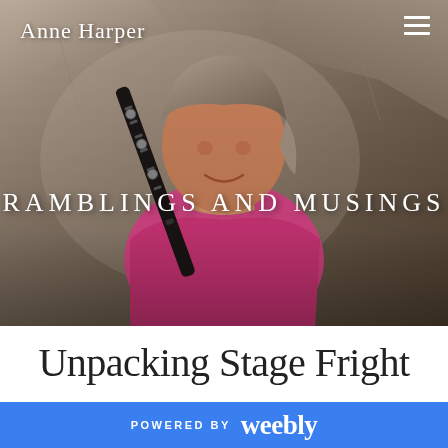[Figure (photo): Website screenshot showing a woman in a pink top holding a clarinet against a rocky background. Header banner with navigation.]
Anne Harper
RAMBLINGS AND MUSINGS
Unpacking Stage Fright
POWERED BY weebly